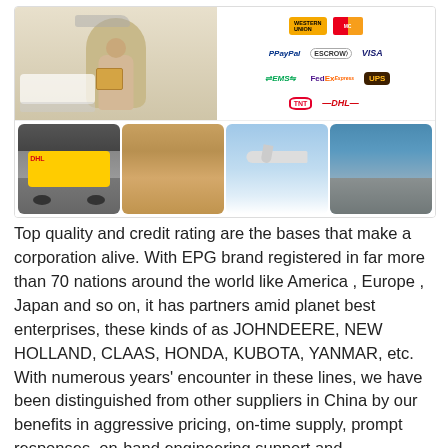[Figure (infographic): Composite image showing: a delivery man holding packages with vans and airplane in background, payment method logos (Western Union, Mastercard, PayPal, Escrow, Visa, EMS, FedEx Express, UPS, TNT, DHL), and four thumbnail photos of shipping modes: DHL truck, stacked boxes/warehouse, LOT airplane in flight, and aerial port view.]
Top quality and credit rating are the bases that make a corporation alive. With EPG brand registered in far more than 70 nations around the world like America , Europe , Japan and so on, it has partners amid planet best enterprises, these kinds of as JOHNDEERE, NEW HOLLAND, CLAAS, HONDA, KUBOTA, YANMAR, etc. With numerous years' encounter in these lines, we have been distinguished from other suppliers in China by our benefits in aggressive pricing, on-time supply, prompt responses, on-hand engineering support and